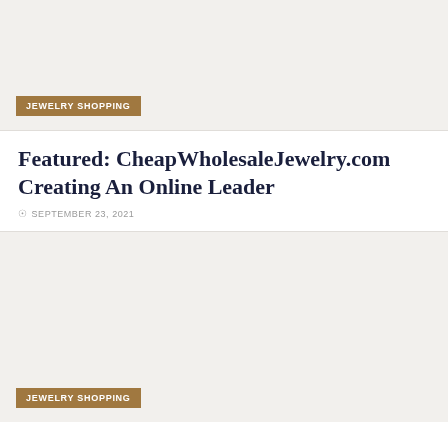[Figure (photo): Top image placeholder with light beige/grey background, with a 'JEWELRY SHOPPING' tag badge at bottom left]
Featured: CheapWholesaleJewelry.com Creating An Online Leader
SEPTEMBER 23, 2021
[Figure (photo): Bottom image placeholder with light beige/grey background, with a 'JEWELRY SHOPPING' tag badge at bottom left]